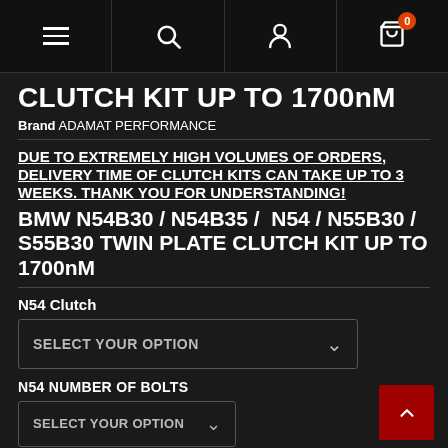Navigation bar with menu, search, account, and cart (0 items)
CLUTCH KIT UP TO 1700nM
Brand ADAMAT PERFORMANCE
DUE TO EXTREMELY HIGH VOLUMES OF ORDERS, DELIVERY TIME OF CLUTCH KITS CAN TAKE UP TO 3 WEEKS. THANK YOU FOR UNDERSTANDING!
BMW N54B30 / N54B35 / N54 / N55B30 / S55B30 TWIN PLATE CLUTCH KIT UP TO 1700nM
N54 Clutch
SELECT YOUR OPTION
N54 NUMBER OF BOLTS
SELECT YOUR OPTION